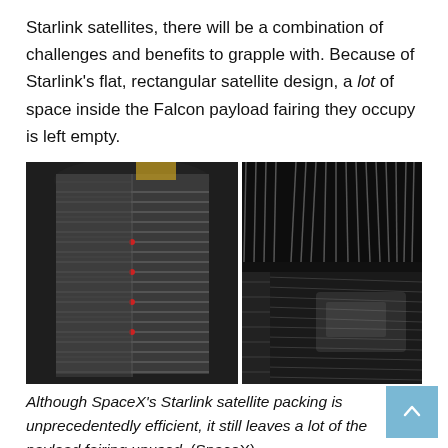Starlink satellites, there will be a combination of challenges and benefits to grapple with. Because of Starlink's flat, rectangular satellite design, a lot of space inside the Falcon payload fairing they occupy is left empty.
[Figure (photo): Two side-by-side photographs showing Starlink satellites packed inside a Falcon rocket payload fairing. Left image shows stacked flat satellites viewed from below/inside the fairing. Right image shows interior detail of the fairing with visible carbon fiber structure and a satellite panel.]
Although SpaceX's Starlink satellite packing is unprecedentedly efficient, it still leaves a lot of the payload fairing unused. (SpaceX)
There's a slight possibility that smaller satellites and their deployers could fit in the triangular